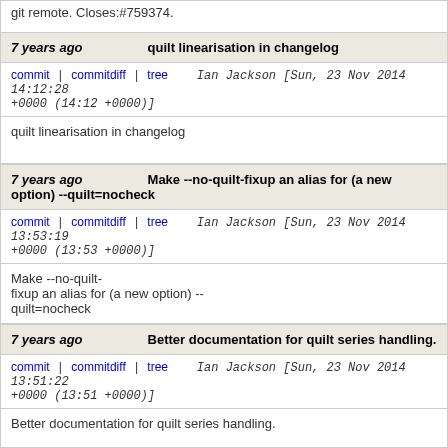git remote.  Closes:#759374.
7 years ago   quilt linearisation in changelog
commit | commitdiff | tree   Ian Jackson [Sun, 23 Nov 2014 14:12:28 +0000 (14:12 +0000)]
quilt linearisation in changelog
7 years ago   Make --no-quilt-fixup an alias for (a new option) --quilt=nocheck
commit | commitdiff | tree   Ian Jackson [Sun, 23 Nov 2014 13:53:19 +0000 (13:53 +0000)]
Make --no-quilt-fixup an alias for (a new option) --quilt=nocheck
7 years ago   Better documentation for quilt series handling.
commit | commitdiff | tree   Ian Jackson [Sun, 23 Nov 2014 13:51:22 +0000 (13:51 +0000)]
Better documentation for quilt series handling.